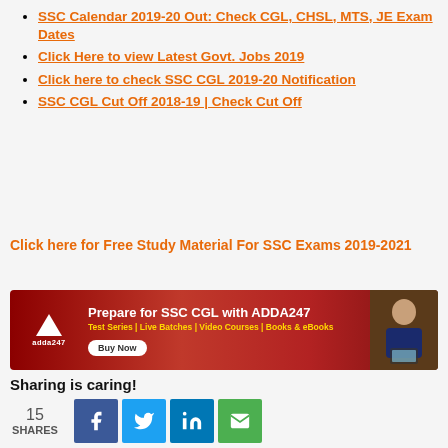SSC Calendar 2019-20 Out: Check CGL, CHSL, MTS, JE Exam Dates
Click Here to view Latest Govt. Jobs 2019
Click here to check SSC CGL 2019-20 Notification
SSC CGL Cut Off 2018-19 | Check Cut Off
Click here for Free Study Material For SSC Exams 2019-2021
[Figure (infographic): Adda247 promotional banner: Prepare for SSC CGL with ADDA247. Test Series | Live Batches | Video Courses | Books & eBooks. Buy Now button. Shows Adda247 logo and a person with laptop.]
Sharing is caring!
15 SHARES